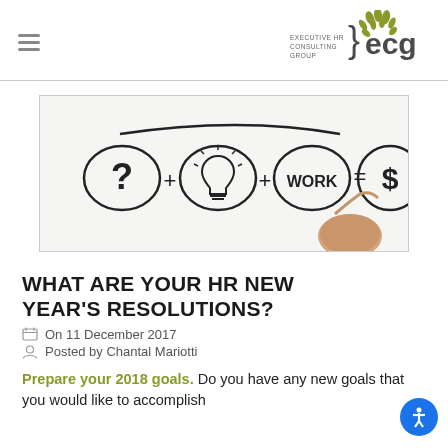Executive HR Consulting Group (ECG) logo and navigation
[Figure (illustration): A person writing a formula on a glass surface: circle with question mark + circle with lightbulb + circle with WORK = circle with dollar sign]
WHAT ARE YOUR HR NEW YEAR'S RESOLUTIONS?
On 11 December 2017
Posted by Chantal Mariotti
Prepare your 2018 goals. Do you have any new goals that you would like to accomplish